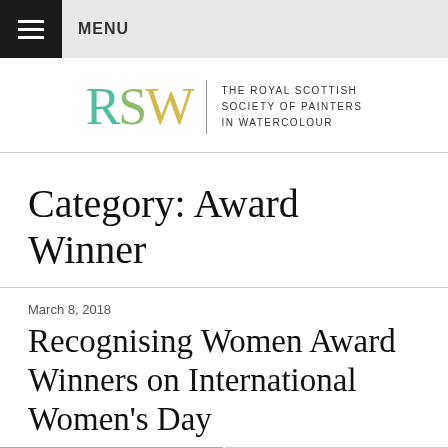MENU
[Figure (logo): RSW logo — Royal Scottish Society of Painters in Watercolour, with R in teal, S in olive-green, W in gold, and full name in small caps beside a vertical rule]
Category: Award Winner
March 8, 2018
Recognising Women Award Winners on International Women's Day
[Figure (photo): Two side-by-side photographs of women at what appears to be an award event or gallery setting]